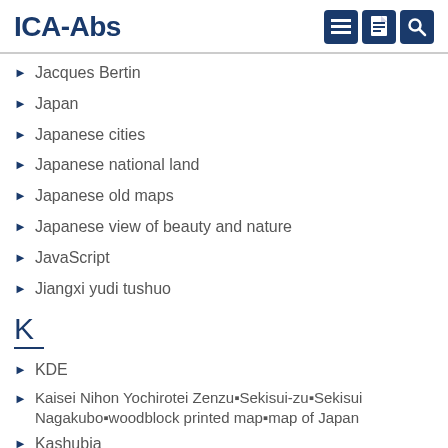ICA-Abs
Jacques Bertin
Japan
Japanese cities
Japanese national land
Japanese old maps
Japanese view of beauty and nature
JavaScript
Jiangxi yudi tushuo
K
KDE
Kaisei Nihon Yochirotei Zenzu▪Sekisui-zu▪Sekisui Nagakubo▪woodblock printed map▪map of Japan
Kashubia